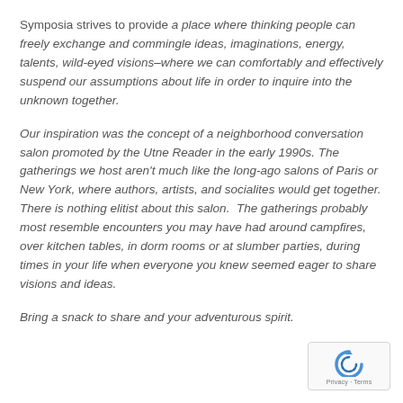Symposia strives to provide a place where thinking people can freely exchange and commingle ideas, imaginations, energy, talents, wild-eyed visions–where we can comfortably and effectively suspend our assumptions about life in order to inquire into the unknown together.
Our inspiration was the concept of a neighborhood conversation salon promoted by the Utne Reader in the early 1990s. The gatherings we host aren't much like the long-ago salons of Paris or New York, where authors, artists, and socialites would get together. There is nothing elitist about this salon.  The gatherings probably most resemble encounters you may have had around campfires, over kitchen tables, in dorm rooms or at slumber parties, during times in your life when everyone you knew seemed eager to share visions and ideas.
Bring a snack to share and your adventurous spirit.
[Figure (logo): reCAPTCHA badge with blue circular arrow icon and 'Privacy - Terms' text]